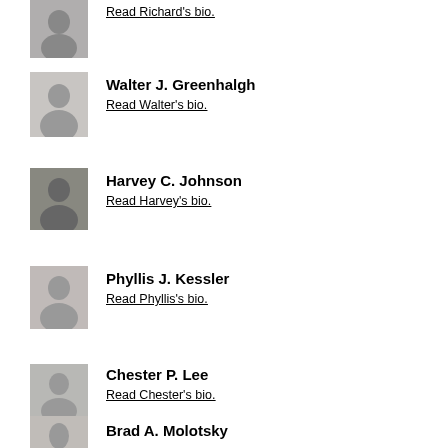[Figure (photo): Headshot of Richard]
Read Richard's bio.
[Figure (photo): Headshot of Walter J. Greenhalgh]
Walter J. Greenhalgh
Read Walter's bio.
[Figure (photo): Headshot of Harvey C. Johnson]
Harvey C. Johnson
Read Harvey's bio.
[Figure (photo): Headshot of Phyllis J. Kessler]
Phyllis J. Kessler
Read Phyllis's bio.
[Figure (photo): Headshot of Chester P. Lee]
Chester P. Lee
Read Chester's bio.
[Figure (photo): Headshot of Brad A. Molotsky]
Brad A. Molotsky